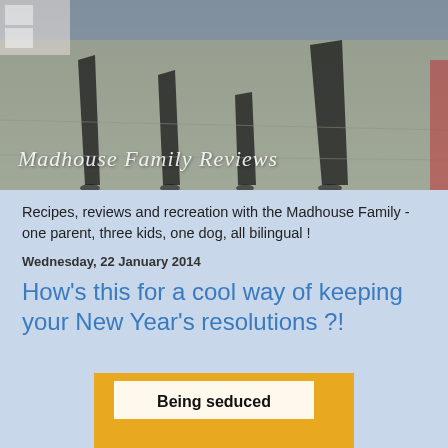[Figure (photo): Blog header photo showing shadows of a family (adults and children) cast on a pavement in bright sunlight, with the blog name 'Madhouse Family Reviews' overlaid in cursive white text]
Recipes, reviews and recreation with the Madhouse Family - one parent, three kids, one dog, all bilingual !
Wednesday, 22 January 2014
How's this for a cool way of keeping your New Year's resolutions ?!
[Figure (photo): Partial view of a book cover with yellow/orange background showing the text 'Being seduced' at the bottom]